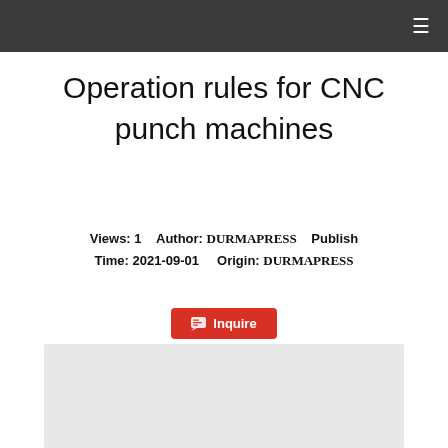☰
Operation rules for CNC punch machines
Views: 1    Author: DURMAPRESS    Publish Time: 2021-09-01    Origin: DURMAPRESS
[Figure (other): Inquire button with chat icon]
[Figure (photo): Gray placeholder image area]